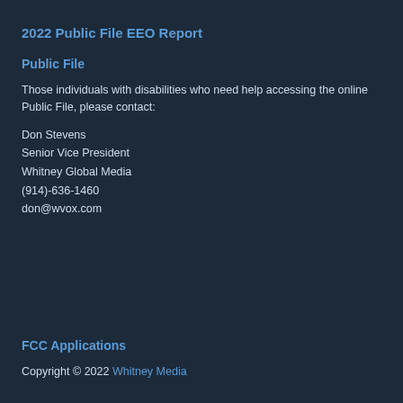2022 Public File EEO Report
Public File
Those individuals with disabilities who need help accessing the online Public File, please contact:
Don Stevens
Senior Vice President
Whitney Global Media
(914)-636-1460
don@wvox.com
FCC Applications
Copyright © 2022 Whitney Media